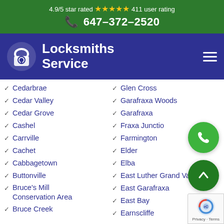4.9/5 star rated ★★★★★ 411 user rating
📞 647-372-2520
Locksmiths Service
Cedarbrae
Cedar Valley
Cedar Grove
Cashel
Carrville
Cachet
Cabbagetown
Buttonville
Bruce's Mill Conservation Area
Bruce Creek
Glen Cross
Garafraxa Woods
Garafraxa
Fraxa Junction
Farmington
Elder
Elba
East Luther Grand Valley
East Garafraxa
East Bay
Earnscliffe